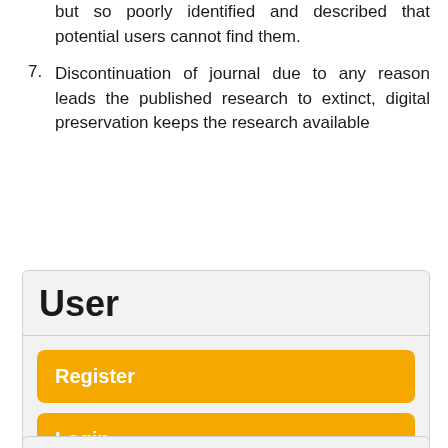but so poorly identified and described that potential users cannot find them.
7. Discontinuation of journal due to any reason leads the published research to extinct, digital preservation keeps the research available
[Figure (screenshot): User widget box with orange buttons: Register, Login, Submit Article]
User